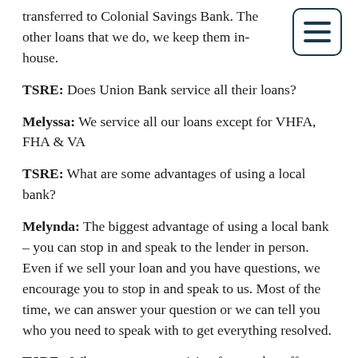transferred to Colonial Savings Bank. The other loans that we do, we keep them in-house.
TSRE: Does Union Bank service all their loans?
Melyssa: We service all our loans except for VHFA, FHA & VA
TSRE: What are some advantages of using a local bank?
Melynda: The biggest advantage of using a local bank – you can stop in and speak to the lender in person. Even if we sell your loan and you have questions, we encourage you to stop in and speak to us. Most of the time, we can answer your question or we can tell you who you need to speak with to get everything resolved.
TSRE: What are some surprising factors that effect